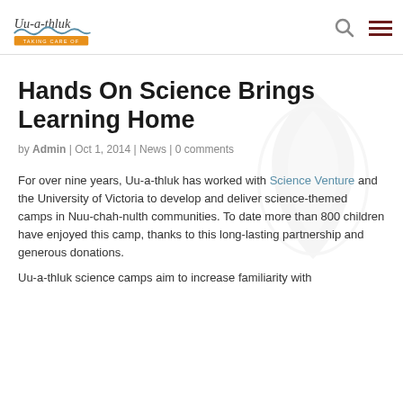Uu-a-thluk – Taking Care Of
Hands On Science Brings Learning Home
by Admin | Oct 1, 2014 | News | 0 comments
For over nine years, Uu-a-thluk has worked with Science Venture and the University of Victoria to develop and deliver science-themed camps in Nuu-chah-nulth communities. To date more than 800 children have enjoyed this camp, thanks to this long-lasting partnership and generous donations.
Uu-a-thluk science camps aim to increase familiarity with